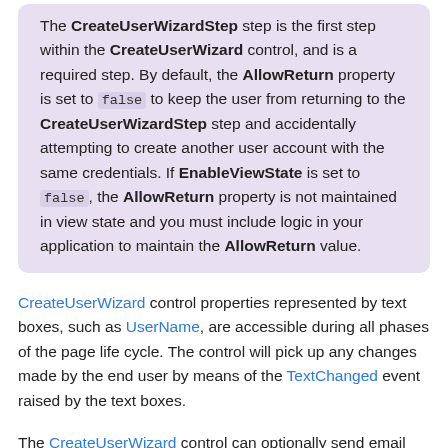The CreateUserWizardStep step is the first step within the CreateUserWizard control, and is a required step. By default, the AllowReturn property is set to false to keep the user from returning to the CreateUserWizardStep step and accidentally attempting to create another user account with the same credentials. If EnableViewState is set to false, the AllowReturn property is not maintained in view state and you must include logic in your application to maintain the AllowReturn value.
CreateUserWizard control properties represented by text boxes, such as UserName, are accessible during all phases of the page life cycle. The control will pick up any changes made by the end user by means of the TextChanged event raised by the text boxes.
The CreateUserWizard control can optionally send email